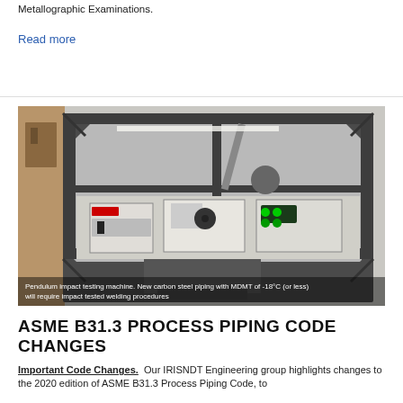Metallographic Examinations.
Read more
[Figure (photo): Pendulum impact testing machine inside a protective enclosure with glass panels and metal frame. Control panels with switches and displays are visible at the front. Caption reads: Pendulum impact testing machine. New carbon steel piping with MDMT of -18°C (or less) will require impact tested welding procedures.]
ASME B31.3 PROCESS PIPING CODE CHANGES
Important Code Changes. Our IRISNDT Engineering group highlights changes to the 2020 edition of ASME B31.3 Process Piping Code, to